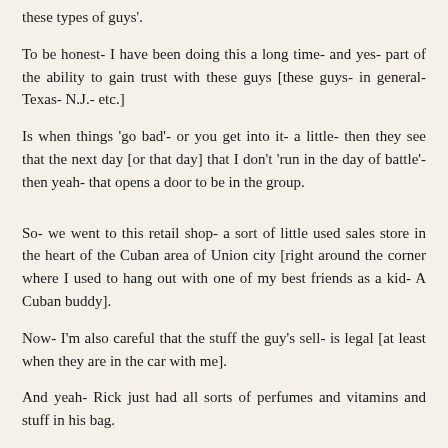these types of guys'.
To be honest- I have been doing this a long time- and yes- part of the ability to gain trust with these guys [these guys- in general- Texas- N.J.- etc.]
Is when things ‘go bad’- or you get into it- a little- then they see that the next day [or that day] that I don’t ‘run in the day of battle’- then yeah- that opens a door to be in the group.
So- we went to this retail shop- a sort of little used sales store in the heart of the Cuban area of Union city [right around the corner where I used to hang out with one of my best friends as a kid- A Cuban buddy].
Now- I’m also careful that the stuff the guy’s sell- is legal [at least when they are in the car with me].
And yeah- Rick just had all sorts of perfumes and vitamins and stuff in his bag.